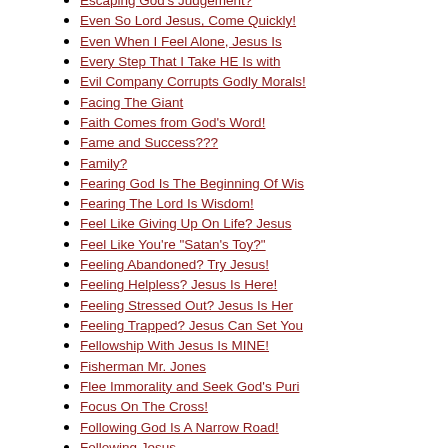Escaping God's Judgement?
Even So Lord Jesus, Come Quickly!
Even When I Feel Alone, Jesus Is
Every Step That I Take HE Is with
Evil Company Corrupts Godly Morals!
Facing The Giant
Faith Comes from God's Word!
Fame and Success???
Family?
Fearing God Is The Beginning Of Wis
Fearing The Lord Is Wisdom!
Feel Like Giving Up On Life? Jesus
Feel Like You're "Satan's Toy?"
Feeling Abandoned? Try Jesus!
Feeling Helpless? Jesus Is Here!
Feeling Stressed Out? Jesus Is Her
Feeling Trapped? Jesus Can Set You
Fellowship With Jesus Is MINE!
Fisherman Mr. Jones
Flee Immorality and Seek God's Puri
Focus On The Cross!
Following God Is A Narrow Road!
Following Jesus...
Following Jesus...
For All of My Sin, Guilt and Shame.
For All of My Wickedness, Guilt and
Forgive Me, I Don't Mean to Intr
Forgive Those Who Have Wronged You!
Forgiveness Is The Key!
Forgiveness...
Forgiveness - Christian Way of li